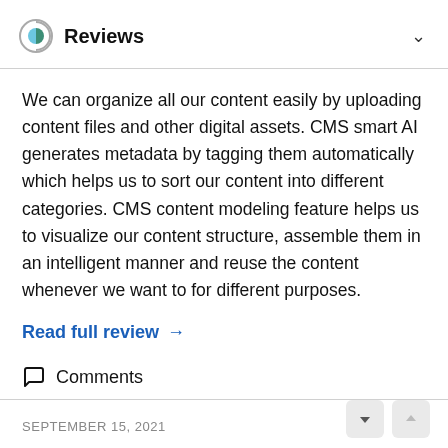Reviews
We can organize all our content easily by uploading content files and other digital assets. CMS smart AI generates metadata by tagging them automatically which helps us to sort our content into different categories. CMS content modeling feature helps us to visualize our content structure, assemble them in an intelligent manner and reuse the content whenever we want to for different purposes.
Read full review →
Comments
SEPTEMBER 15, 2021